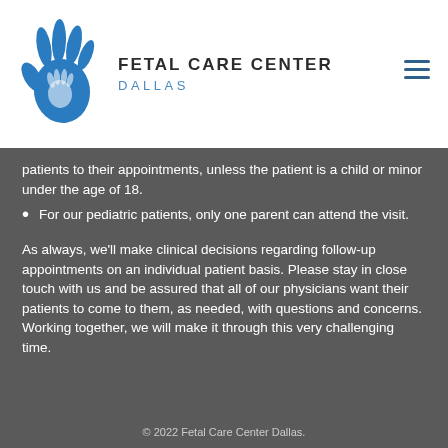[Figure (logo): Fetal Care Center Dallas logo with blue handprint and brand text]
patients to their appointments, unless the patient is a child or minor under the age of 18.
For our pediatric patients, only one parent can attend the visit.
As always, we'll make clinical decisions regarding follow-up appointments on an individual patient basis. Please stay in close touch with us and be assured that all of our physicians want their patients to come to them, as needed, with questions and concerns. Working together, we will make it through this very challenging time.
© 2022 Fetal Care Center Dallas.